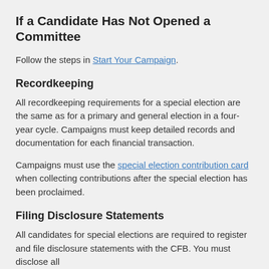If a Candidate Has Not Opened a Committee
Follow the steps in Start Your Campaign.
Recordkeeping
All recordkeeping requirements for a special election are the same as for a primary and general election in a four-year cycle. Campaigns must keep detailed records and documentation for each financial transaction.
Campaigns must use the special election contribution card when collecting contributions after the special election has been proclaimed.
Filing Disclosure Statements
All candidates for special elections are required to register and file disclosure statements with the CFB. You must disclose all